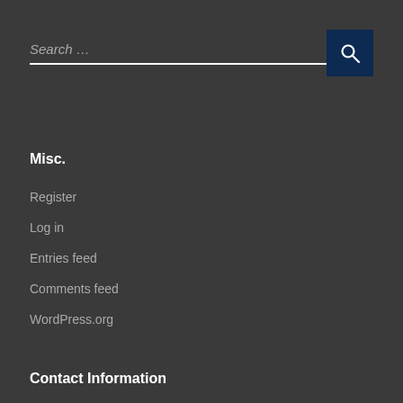Search …
Misc.
Register
Log in
Entries feed
Comments feed
WordPress.org
Contact Information